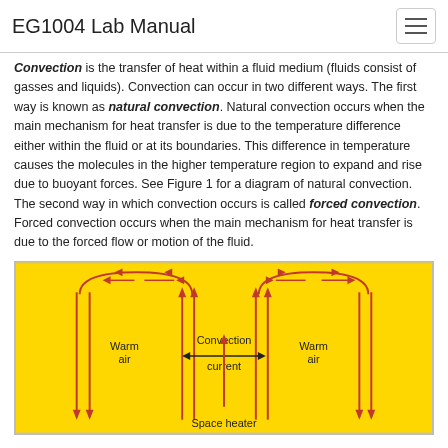EG1004 Lab Manual
Convection is the transfer of heat within a fluid medium (fluids consist of gasses and liquids). Convection can occur in two different ways. The first way is known as natural convection. Natural convection occurs when the main mechanism for heat transfer is due to the temperature difference either within the fluid or at its boundaries. This difference in temperature causes the molecules in the higher temperature region to expand and rise due to buoyant forces. See Figure 1 for a diagram of natural convection. The second way in which convection occurs is called forced convection. Forced convection occurs when the main mechanism for heat transfer is due to the forced flow or motion of the fluid.
[Figure (illustration): Diagram of natural convection showing two convection cells above a space heater. Red arrows show warm air rising in the center and cool air descending on the sides, forming arch-shaped loops. Labels: 'Warm air' on left and right sides, 'Convection current' with arrows in the center, 'Space heater' at the bottom center. Yellow background.]